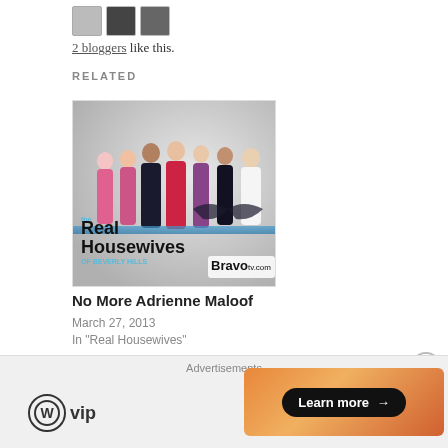[Figure (photo): Small avatar images of two bloggers]
2 bloggers like this.
RELATED
[Figure (photo): Promotional image for The Real Housewives of Beverly Hills showing several women in dresses with the show title and Bravotv.com logo]
No More Adrienne Maloof
March 27, 2013
In "Real Housewives"
Advertisements
[Figure (logo): WordPress VIP logo with circle W icon]
[Figure (infographic): Orange gradient advertisement banner with Learn more arrow button]